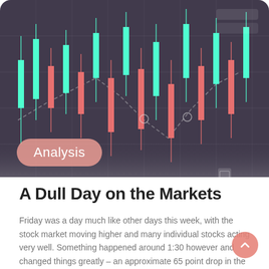[Figure (photo): Stock market candlestick chart with green and red candles on a dark background, showing price movements and trend lines]
A Dull Day on the Markets
Friday was a day much like other days this week, with the stock market moving higher and many individual stocks acting very well. Something happened around 1:30 however and changed things greatly – an approximate 65 point drop in the Nasdaq in about an hour followed by a thirty point rally back up in the final hour is not something you see everyday. Supposedly this drop had to do with the situation in Ukraine and actions taken by Russia. Whatever it was, a lot of